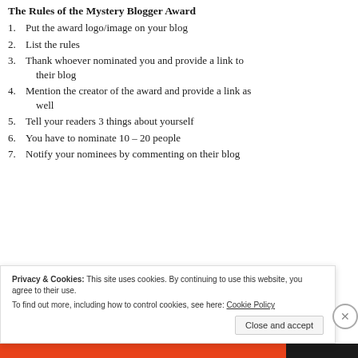The Rules of the Mystery Blogger Award
Put the award logo/image on your blog
List the rules
Thank whoever nominated you and provide a link to their blog
Mention the creator of the award and provide a link as well
Tell your readers 3 things about yourself
You have to nominate 10 – 20 people
Notify your nominees by commenting on their blog
Privacy & Cookies: This site uses cookies. By continuing to use this website, you agree to their use.
To find out more, including how to control cookies, see here: Cookie Policy